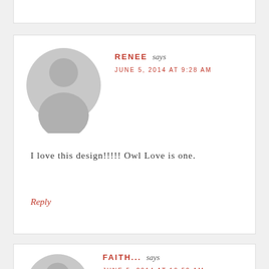[Figure (illustration): Bottom portion of a comment card with no visible content, partially cut off at top of page]
RENEE says
JUNE 5, 2014 AT 9:28 AM
[Figure (illustration): Grey default avatar/profile picture showing silhouette of a person]
I love this design!!!!! Owl Love is one.
Reply
FAITH... says
JUNE 5, 2014 AT 10:52 AM